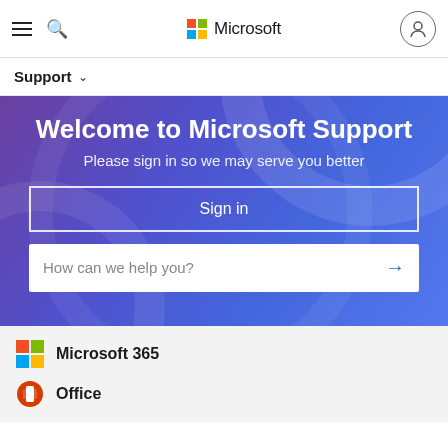Microsoft
Support
Welcome to Microsoft Support
Please sign in so we may serve you better
Sign in
How can we help you?
Microsoft 365
Office